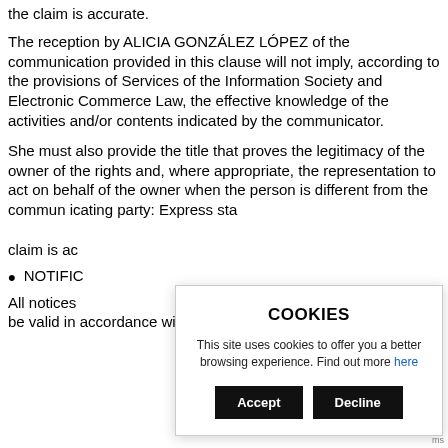the claim is accurate.
The reception by ALICIA GONZÁLEZ LÓPEZ of the communication provided in this clause will not imply, according to the provisions of Services of the Information Society and Electronic Commerce Law, the effective knowledge of the activities and/or contents indicated by the communicator.
She must also provide the title that proves the legitimacy of the owner of the rights and, where appropriate, the representation to act on behalf of the owner when the person is different from the communicating party: Express statement that the information contained in the claim is accurate.
NOTIFIC…
All notices… be valid in accordance with the means admitted by Law.
[Figure (other): Cookie consent popup overlay with title 'COOKIES', body text 'This site uses cookies to offer you a better browsing experience. Find out more here', and two buttons: 'Accept' and 'Decline'.]